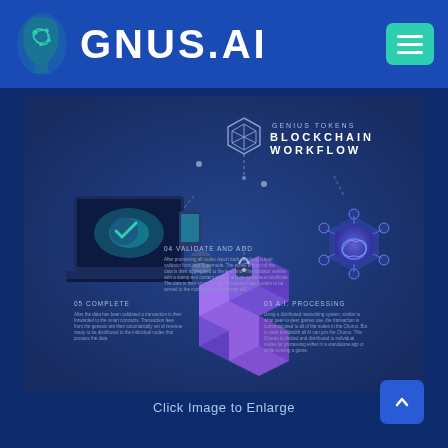[Figure (logo): GNUS.AI logo with teal brain/face icon and white bold text 'GNUS.AI', with teal menu button in top right]
[Figure (infographic): Genius Tokens Blockchain Workflow infographic on dark blue background. Shows steps: 04 Validate and Add, 03 A.I. Processing, 05 Complete. Includes isometric illustrations of laptop, blockchain cubes, and AI network nodes connected by dotted lines.]
Click Image to Enlarge